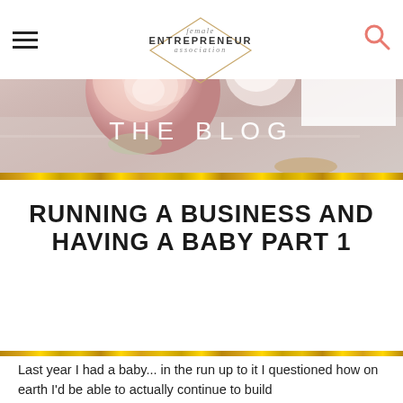female ENTREPRENEUR association
[Figure (photo): Blog header hero image with pink ranunculus flowers on a desk, right side shows a white box with text 'COTTON FLOWER'. Overlay text reads 'THE BLOG'.]
RUNNING A BUSINESS AND HAVING A BABY PART 1
Last year I had a baby... in the run up to it I questioned how on earth I'd be able to actually continue to build